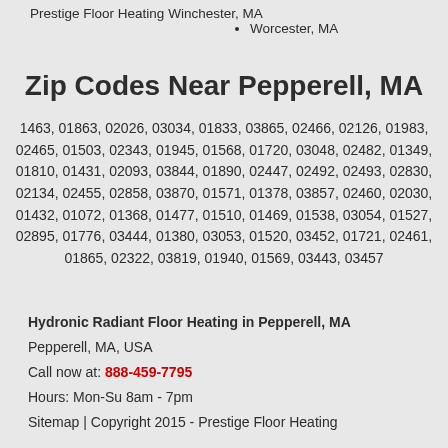Prestige Floor Heating
• Winchester, MA
• Worcester, MA
Zip Codes Near Pepperell, MA
1463, 01863, 02026, 03034, 01833, 03865, 02466, 02126, 01983, 02465, 01503, 02343, 01945, 01568, 01720, 03048, 02482, 01349, 01810, 01431, 02093, 03844, 01890, 02447, 02492, 02493, 02830, 02134, 02455, 02858, 03870, 01571, 01378, 03857, 02460, 02030, 01432, 01072, 01368, 01477, 01510, 01469, 01538, 03054, 01527, 02895, 01776, 03444, 01380, 03053, 01520, 03452, 01721, 02461, 01865, 02322, 03819, 01940, 01569, 03443, 03457
Hydronic Radiant Floor Heating in Pepperell, MA
Pepperell, MA, USA
Call now at: 888-459-7795
Hours: Mon-Su 8am - 7pm
Sitemap | Copyright 2015 - Prestige Floor Heating